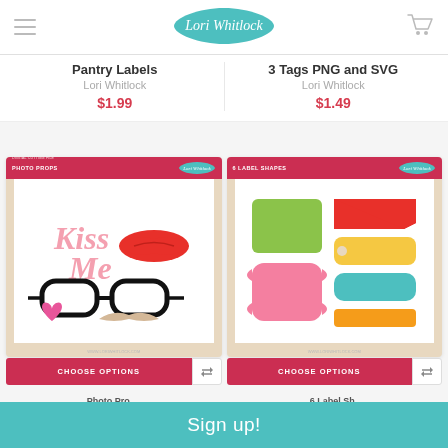Lori Whitlock
Pantry Labels
Lori Whitlock
$1.99
3 Tags PNG and SVG
Lori Whitlock
$1.49
[Figure (photo): Photo Props digital cutting file product card showing Kiss Me text, red lips, glasses, pink heart, mustache]
[Figure (photo): 6 Label Shapes digital cutting file product card showing colorful label shapes in green, red, yellow, pink, teal, orange]
CHOOSE OPTIONS
CHOOSE OPTIONS
Sign up!